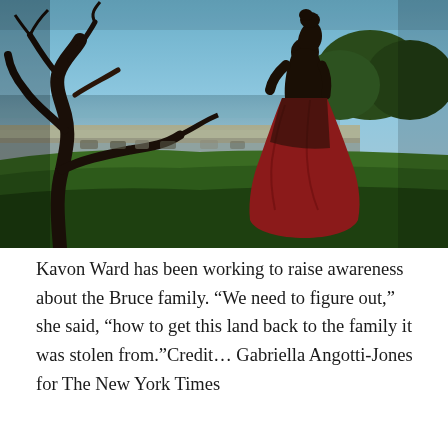[Figure (photo): A person in a red and black outfit stands on a grassy hillside overlooking a beach and ocean. A large tree with twisted branches is in the foreground. Blue sky and trees are in the background. The figure appears as a silhouette against the bright sky.]
Kavon Ward has been working to raise awareness about the Bruce family. “We need to figure out,” she said, “how to get this land back to the family it was stolen from.”Credit… Gabriella Angotti-Jones for The New York Times